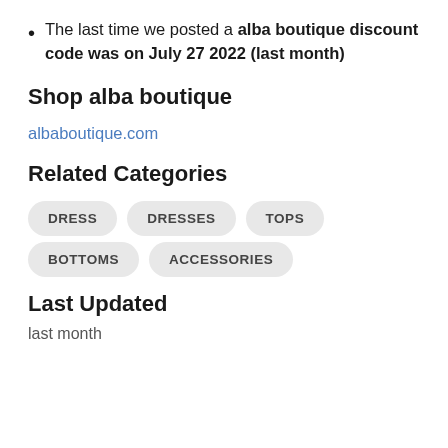The last time we posted a alba boutique discount code was on July 27 2022 (last month)
Shop alba boutique
albaboutique.com
Related Categories
DRESS  DRESSES  TOPS  BOTTOMS  ACCESSORIES
Last Updated
last month